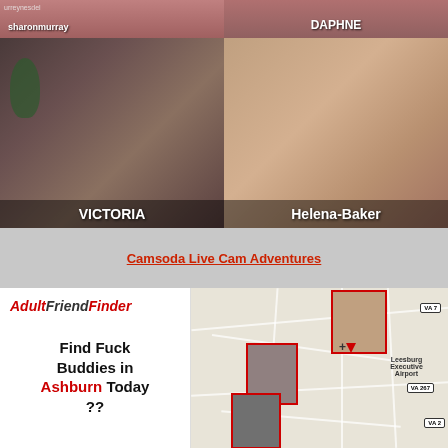[Figure (screenshot): Webcam thumbnails: sharonmurray top-left, DAPHNE top-right]
[Figure (screenshot): Webcam thumbnails: VICTORIA bottom-left, Helena-Baker bottom-right]
Camsoda Live Cam Adventures
[Figure (screenshot): AdultFriendFinder ad: Find Fuck Buddies in Ashburn Today ??]
[Figure (map): Map showing Leesburg Executive Airport area with VA 7, VA 267 signs and user photo thumbnails pinned to locations]